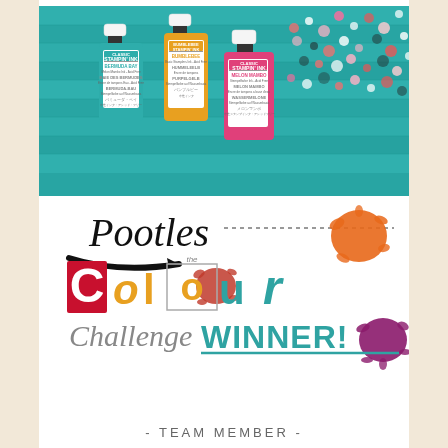[Figure (photo): Three Stampin' Ink bottles (Bermuda Bay teal, Bumblebee yellow, Melon Mambo pink) on a teal wooden background with colorful confetti/sequins scattered to the right]
[Figure (logo): Pootles Colour Challenge Winner! logo with decorative ink splats, script text 'Pootles', bold stylized 'COLOUR', script 'Challenge', teal bold 'WINNER!']
- TEAM MEMBER -